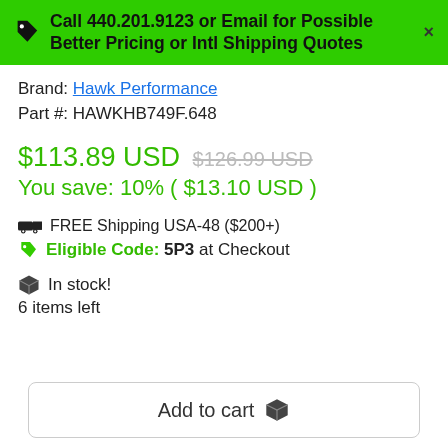Call 440.201.9123 or Email for Possible Better Pricing or Intl Shipping Quotes
Brand: Hawk Performance
Part #: HAWKHB749F.648
$113.89 USD  $126.99 USD  You save: 10% ( $13.10 USD )
FREE Shipping USA-48 ($200+)
Eligible Code: 5P3 at Checkout
In stock! 6 items left
Add to cart